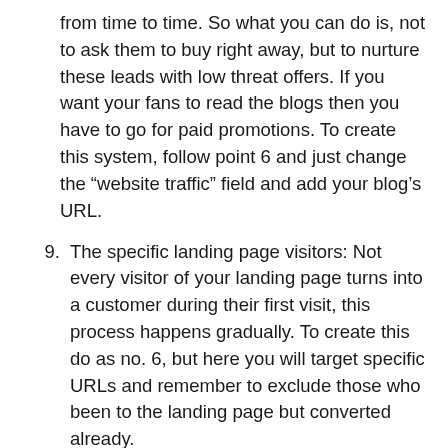from time to time. So what you can do is, not to ask them to buy right away, but to nurture these leads with low threat offers. If you want your fans to read the blogs then you have to go for paid promotions. To create this system, follow point 6 and just change the “website traffic” field and add your blog’s URL.
9. The specific landing page visitors: Not every visitor of your landing page turns into a customer during their first visit, this process happens gradually. To create this do as no. 6, but here you will target specific URLs and remember to exclude those who been to the landing page but converted already.